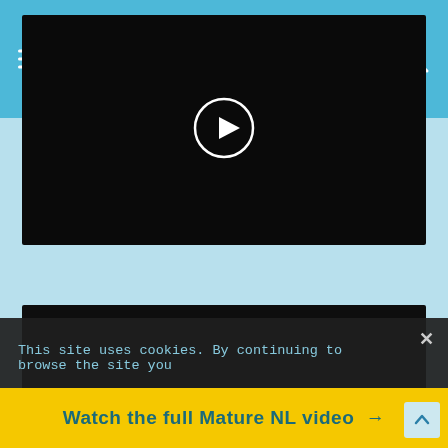TOP Mature.nl
[Figure (screenshot): Dark video thumbnail with white play button circle in center]
Naughty mature slut fucking and sucking
[Figure (screenshot): Dark video thumbnail]
This site uses cookies. By continuing to browse the site you
Watch the full Mature NL video →